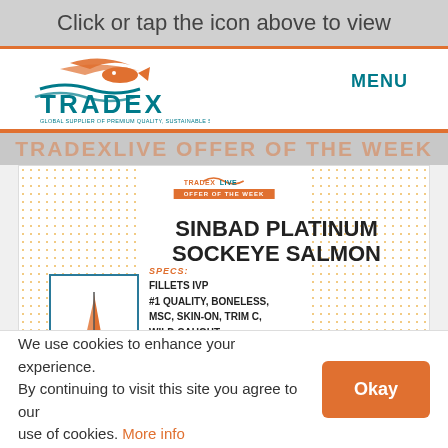Click or tap the icon above to view
[Figure (logo): Tradex logo with fish icon and text: TRADEX - GLOBAL SUPPLIER OF PREMIUM QUALITY, SUSTAINABLE SEAFOOD]
MENU
SINBAD PLATINUM SOCKEYE SALMON
[Figure (logo): Sinbad Platinum logo with orange sailboat]
SPECS: FILLETS IVP #1 QUALITY, BONELESS, MSC, SKIN-ON, TRIM C, WILD CAUGHT 100% NET WEIGHT GUARANTEE ONLY $7.75/LB USD FOB SEATTLE OR VANCOUVER,
(Click to View Offer)
We use cookies to enhance your experience. By continuing to visit this site you agree to our use of cookies. More info